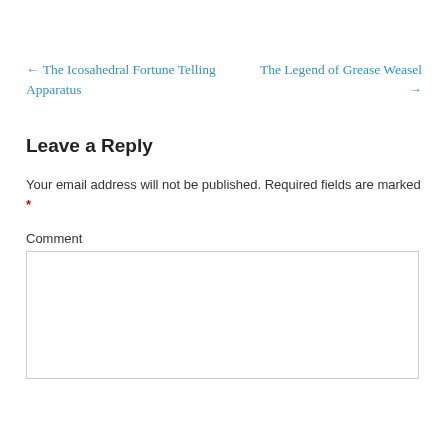← The Icosahedral Fortune Telling Apparatus
The Legend of Grease Weasel →
Leave a Reply
Your email address will not be published. Required fields are marked *
Comment